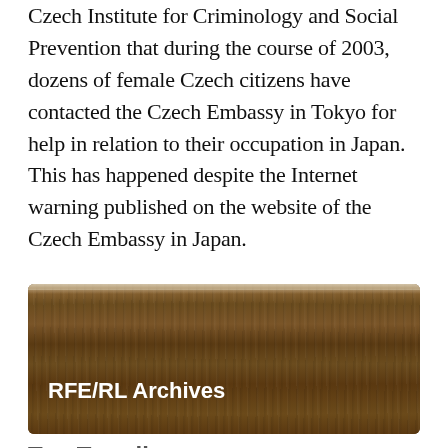Czech Institute for Criminology and Social Prevention that during the course of 2003, dozens of female Czech citizens have contacted the Czech Embassy in Tokyo for help in relation to their occupation in Japan. This has happened despite the Internet warning published on the website of the Czech Embassy in Japan.
[Figure (photo): Photo of a wooden surface or plank with text overlay reading 'RFE/RL Archives']
Top Trending